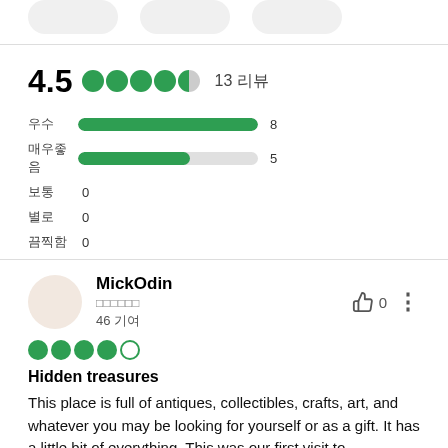[Figure (other): Three rounded pill/button icons at the top of the page]
4.5 ●●●●◑ 13 리뷰
우수 [bar] 8
매우좋음 [bar] 5
보통 0
별로 0
끔찍함 0
MickOdin
□□□□□□ 46 기여
[Figure (other): 4 out of 5 green circle star rating]
Hidden treasures
This place is full of antiques, collectibles, crafts, art, and whatever you may be looking for yourself or as a gift. It has a little bit of everything. This was our first visit to